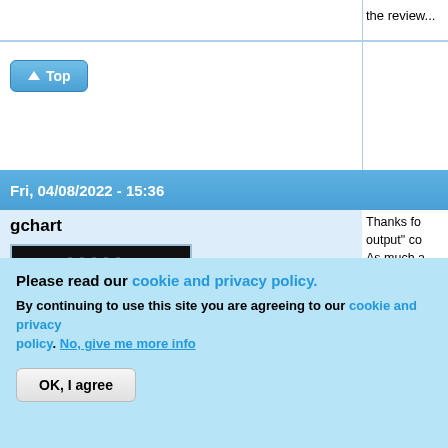the review...
↑ Top
Fri, 04/08/2022 - 15:36
gchart
[Figure (photo): User avatar image showing stylized GH logo letters in gold on dark background with blue LED dots at bottom]
🔴 Offline
Last seen: 5 hours 37 min ago
Joined: 02/10/2016
Thanks for output" co... As much a spec, I gue lumens. I'l adjectives
Re: possib possible, b properly. A with low in
Please read our cookie and privacy policy.
By continuing to use this site you are agreeing to our cookie and privacy policy. No, give me more info
OK, I agree